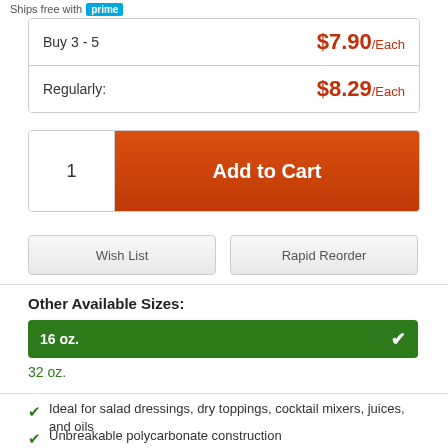Ships free with prime
| Tier | Price |
| --- | --- |
| Buy 3 - 5 | $7.90/Each |
| Regularly: | $8.29/Each |
1  Add to Cart
Wish List
Rapid Reorder
Other Available Sizes:
16 oz. (selected)
32 oz.
Ideal for salad dressings, dry toppings, cocktail mixers, juices, and oils
Unbreakable polycarbonate construction
Dishwasher safe